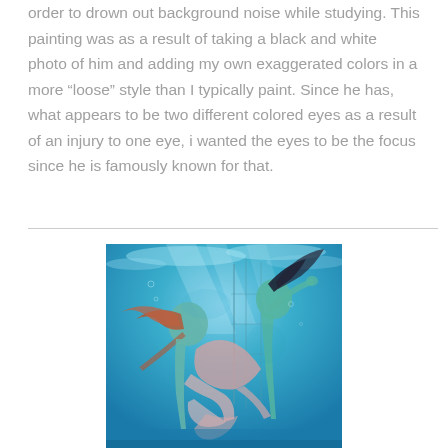order to drown out background noise while studying. This painting was as a result of taking a black and white photo of him and adding my own exaggerated colors in a more "loose" style than I typically paint. Since he has, what appears to be two different colored eyes as a result of an injury to one eye, i wanted the eyes to be the focus since he is famously known for that.
[Figure (illustration): An underwater painting showing figures that appear mermaid-like, with flowing hair and fabric, in shades of blue, teal, and pink/salmon. The figures are dancing or floating underwater with light filtering through from above.]